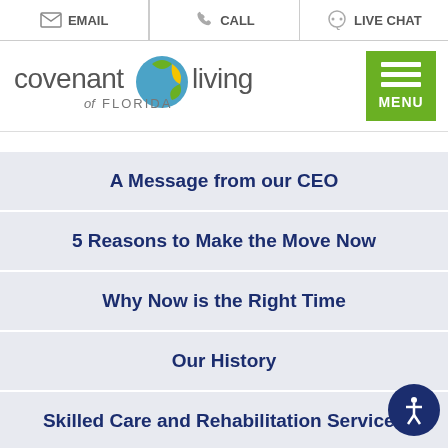EMAIL | CALL | LIVE CHAT
[Figure (logo): Covenant Living of Florida logo with green/blue/yellow circular icon]
A Message from our CEO
5 Reasons to Make the Move Now
Why Now is the Right Time
Our History
Skilled Care and Rehabilitation Services
Life at Covenant Living